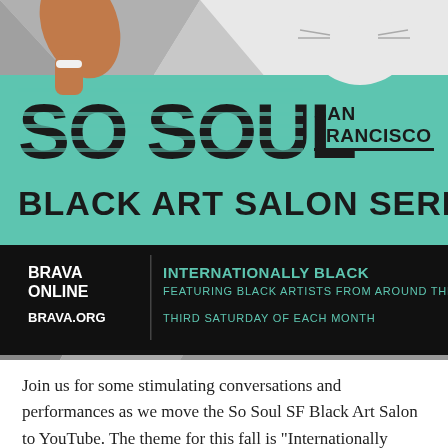[Figure (illustration): Illustrated poster for So Soul San Francisco Black Art Salon Series on Brava Online. Features illustrated figures against geometric grey/white background, teal banner with 'SO SOUL SAN FRANCISCO' and 'BLACK ART SALON SERIES' text, and black bar with 'BRAVA ONLINE BRAVA.ORG' and 'INTERNATIONALLY BLACK FEATURING BLACK ARTISTS FROM AROUND THE GLOBE THIRD SATURDAY OF EACH MONTH'.]
Join us for some stimulating conversations and performances as we move the So Soul SF Black Art Salon to YouTube. The theme for this fall is "Internationally Black" and we search the globe for the artists who are making a career on the international scene. Every third Saturday at 11am